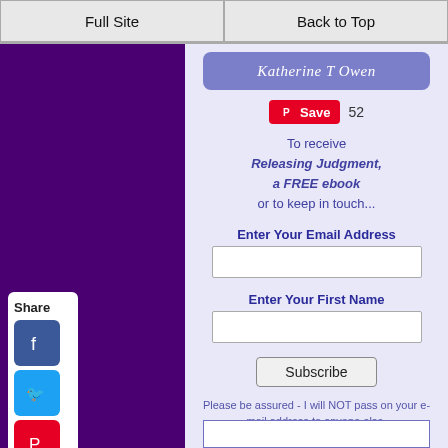Full Site | Back to Top
[Figure (screenshot): Author banner with name 'Katherine T Owen' in italic white text on purple/blue background]
[Figure (infographic): Pinterest Save button (red) with count 52]
To receive Releasing Judgment, a FREE ebook or to keep in touch...
Enter Your Email Address
Enter Your First Name
Subscribe
Please be assured - I will NOT pass on your e-mail address to anyone else.
[Figure (screenshot): Social share sidebar with Facebook, Twitter, Pinterest, Tumblr, Reddit, WhatsApp icons]